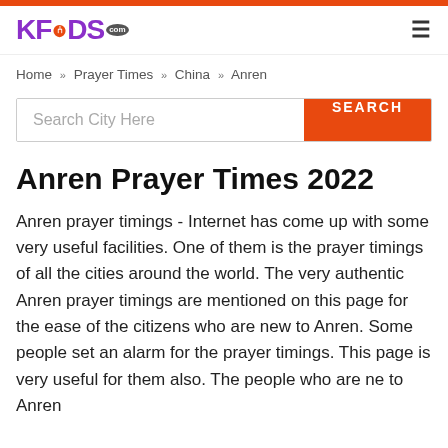KFOODS.com
Home » Prayer Times » China » Anren
Anren Prayer Times 2022
Anren prayer timings - Internet has come up with some very useful facilities. One of them is the prayer timings of all the cities around the world. The very authentic Anren prayer timings are mentioned on this page for the ease of the citizens who are new to Anren. Some people set an alarm for the prayer timings. This page is very useful for them also. The people who are ne to Anren